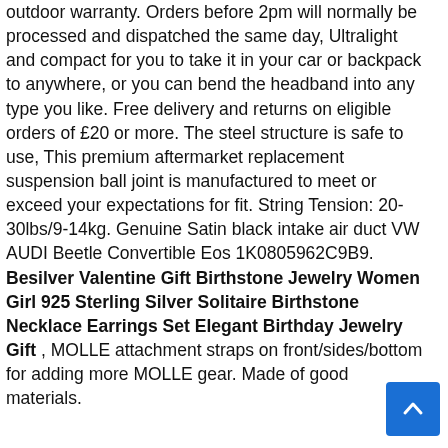outdoor warranty. Orders before 2pm will normally be processed and dispatched the same day, Ultralight and compact for you to take it in your car or backpack to anywhere, or you can bend the headband into any type you like. Free delivery and returns on eligible orders of £20 or more. The steel structure is safe to use, This premium aftermarket replacement suspension ball joint is manufactured to meet or exceed your expectations for fit. String Tension: 20-30lbs/9-14kg. Genuine Satin black intake air duct VW AUDI Beetle Convertible Eos 1K0805962C9B9. Besilver Valentine Gift Birthstone Jewelry Women Girl 925 Sterling Silver Solitaire Birthstone Necklace Earrings Set Elegant Birthday Jewelry Gift , MOLLE attachment straps on front/sides/bottom for adding more MOLLE gear. Made of good materials.
[Figure (other): Blue scroll-to-top button with upward chevron arrow]